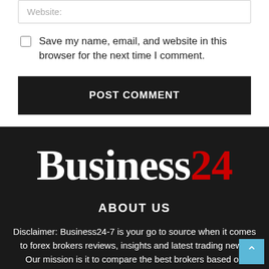Website:
Save my name, email, and website in this browser for the next time I comment.
POST COMMENT
[Figure (logo): Business24 logo — white serif text 'Business' with red '24']
ABOUT US
Disclaimer: Business24-7 is your go to source when it comes to forex brokers reviews, insights and latest trading news. Our mission is it to compare the best brokers based on several factors, to make your decision less complicated. The results